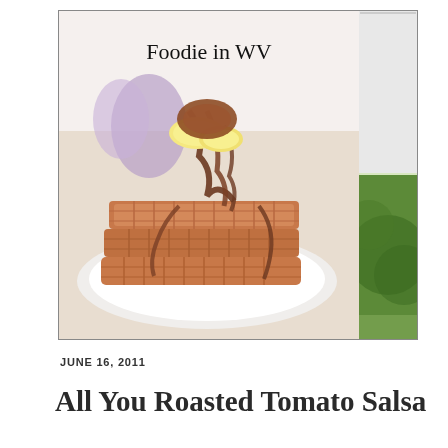[Figure (photo): Food blog header image showing a stack of waffles topped with banana slices and chocolate drizzle on a white plate, with a butterfly decoration in the background. Text 'Foodie in WV' overlaid at the top. A partial green outdoor scene visible on the right side strip.]
JUNE 16, 2011
All You Roasted Tomato Salsa